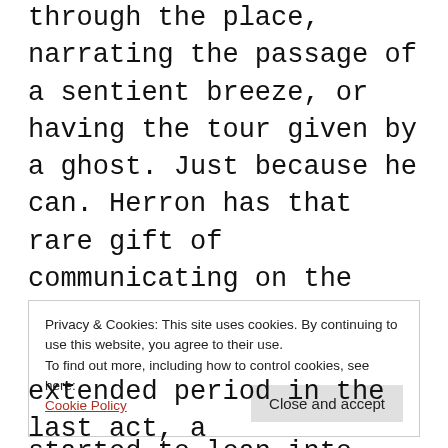through the place, narrating the passage of a sentient breeze, or having the tour given by a ghost. Just because he can. Herron has that rare gift of communicating on the page his joy at getting to tell his stories.
The last couple of books started to lean into Lamb as a magical farting goblin spook, as if Herron had finally been ensnared by his creation's murky
Privacy & Cookies: This site uses cookies. By continuing to use this website, you agree to their use.
To find out more, including how to control cookies, see here:
Cookie Policy
extended period in the last act, a